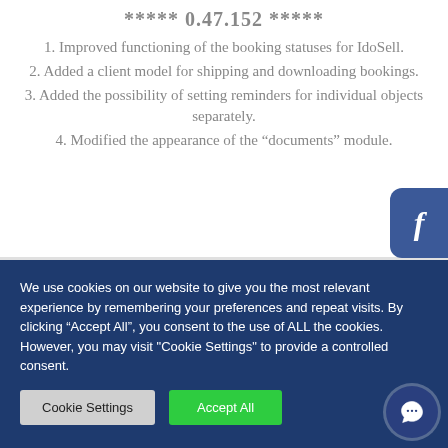***** 0.47.152 *****
1. Improved functioning of the booking statuses for IdoSell.
2. Added a client model for shipping and downloading bookings.
3. Added the possibility of setting reminders for individual objects separately.
4. Modified the appearance of the “documents” module.
We use cookies on our website to give you the most relevant experience by remembering your preferences and repeat visits. By clicking “Accept All”, you consent to the use of ALL the cookies. However, you may visit "Cookie Settings" to provide a controlled consent.
Cookie Settings | Accept All